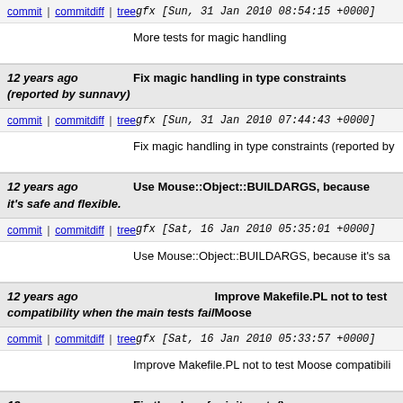commit | commitdiff | tree    gfx [Sun, 31 Jan 2010 08:54:15 +0000]
More tests for magic handling
12 years ago  Fix magic handling in type constraints (reported by sunnavy)
commit | commitdiff | tree    gfx [Sun, 31 Jan 2010 07:44:43 +0000]
Fix magic handling in type constraints (reported by
12 years ago  Use Mouse::Object::BUILDARGS, because it's safe and flexible.
commit | commitdiff | tree    gfx [Sat, 16 Jan 2010 05:35:01 +0000]
Use Mouse::Object::BUILDARGS, because it's sa
12 years ago  Improve Makefile.PL not to test Moose compatibility when the main tests fail
commit | commitdiff | tree    gfx [Sat, 16 Jan 2010 05:33:57 +0000]
Improve Makefile.PL not to test Moose compatibili
12 years ago  Fix the class for init_meta()
commit | commitdiff | tree    gfx [Sat, 16 Jan 2010 05:33:40 +0000]